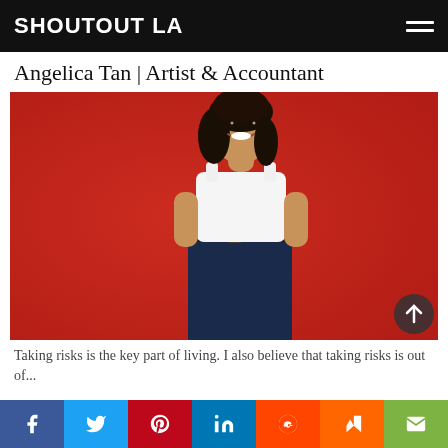SHOUTOUT LA
Angelica Tan | Artist & Accountant
[Figure (photo): Woman with dark hair smiling, wearing a white sleeveless top and navy skirt with a belt, posing against a vivid red background]
Taking risks is the key part of living. I also believe that taking risks is out of...